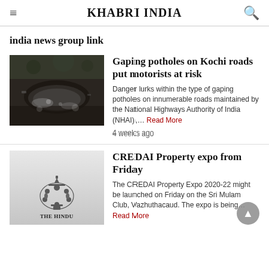KHABRI INDIA
india news group link
Gaping potholes on Kochi roads put motorists at risk
Danger lurks within the type of gaping potholes on innumerable roads maintained by the National Highways Authority of India (NHAI),… Read More
4 weeks ago
CREDAI Property expo from Friday
The CREDAI Property Expo 2020-22 might be launched on Friday on the Sri Mulam Club, Vazhuthacaud. The expo is being… Read More